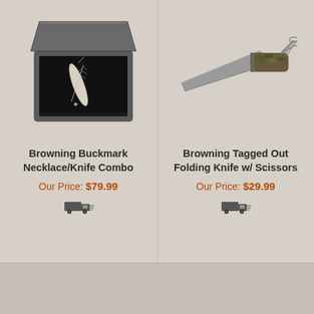[Figure (photo): Browning Buckmark Necklace/Knife Combo in a black gift box]
Browning Buckmark Necklace/Knife Combo
Our Price: $79.99
[Figure (illustration): Shipping truck icon]
[Figure (photo): Browning Tagged Out Folding Knife with Scissors, camo handle]
Browning Tagged Out Folding Knife w/ Scissors
Our Price: $29.99
[Figure (illustration): Shipping truck icon]